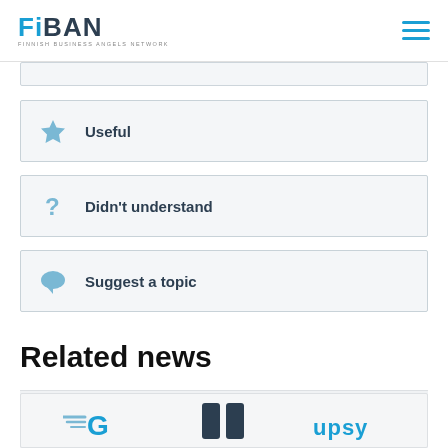FiBAN - FINNISH BUSINESS ANGELS NETWORK
Useful
Didn't understand
Suggest a topic
Related news
[Figure (screenshot): Partial view of related news logos including G (speedlines logo), a double-column icon, and UPSY text logo]